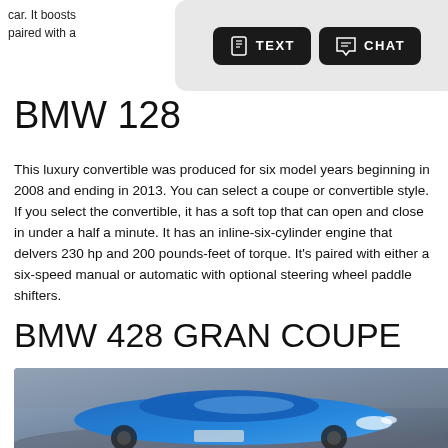car. It boosts … er and is paired with a…
[Figure (screenshot): Two dark buttons with icons: TEXT (phone icon) and CHAT (speech bubble icon) on a light gray rounded background]
BMW 128
This luxury convertible was produced for six model years beginning in 2008 and ending in 2013. You can select a coupe or convertible style. If you select the convertible, it has a soft top that can open and close in under a half a minute. It has an inline-six-cylinder engine that delvers 230 hp and 200 pounds-feet of torque. It's paired with either a six-speed manual or automatic with optional steering wheel paddle shifters.
BMW 428 GRAN COUPE
[Figure (photo): A blue BMW 428 Gran Coupe driving on a winding road with blurred motion background]